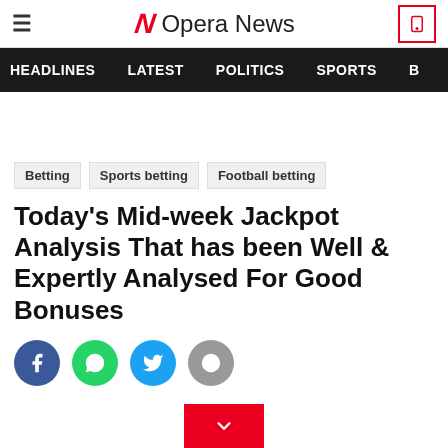Opera News
HEADLINES   LATEST   POLITICS   SPORTS   B
Betting   Sports betting   Football betting
Today's Mid-week Jackpot Analysis That has been Well & Expertly Analysed For Good Bonuses
[Figure (infographic): Social share buttons: Facebook (blue), WhatsApp (green), Twitter (cyan), Info (gray)]
[Figure (infographic): Red scroll-down button with chevron/arrow icon]